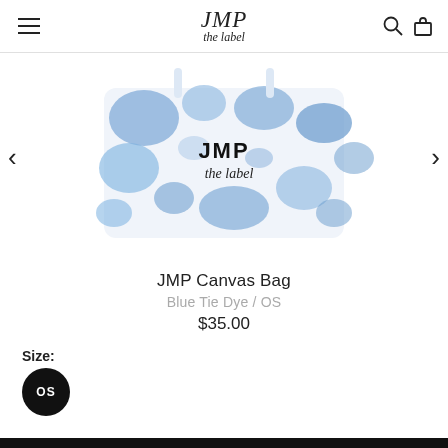JMP the label
[Figure (photo): JMP Canvas Bag in Blue Tie Dye pattern — white tote bag with blue splatter/tie-dye print and JMP the label logo on front]
JMP Canvas Bag
Blue Tie Dye / OS
$35.00
Size:
OS